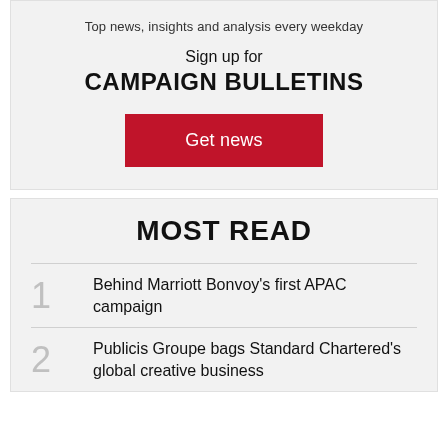Top news, insights and analysis every weekday
Sign up for CAMPAIGN BULLETINS
Get news
MOST READ
1 Behind Marriott Bonvoy's first APAC campaign
2 Publicis Groupe bags Standard Chartered's global creative business